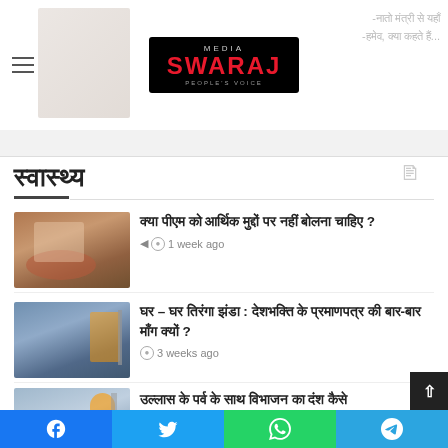[Figure (logo): Media Swaraj logo - black background with red bold text 'SWARAJ' and 'MEDIA' above, tagline 'PEOPLE'S VOICE' below]
स्वास्थ्य
[Figure (photo): Photo of PM Narendra Modi speaking at a podium with hands raised, red microphones visible]
क्या पीएम को आर्थिक मुद्दों पर नहीं बोलना चाहिए ?
1 week ago
[Figure (photo): Photo of person with Indian flag (tiranga) at an outdoor event]
घर – घर तिरंगा झंडा : देशभक्ति के प्रमाणपत्र की बार-बार माँग क्यों ?
3 weeks ago
[Figure (photo): Partial photo visible at bottom of page]
उल्लास के पर्व के साथ विभाजन का दंश कैसे